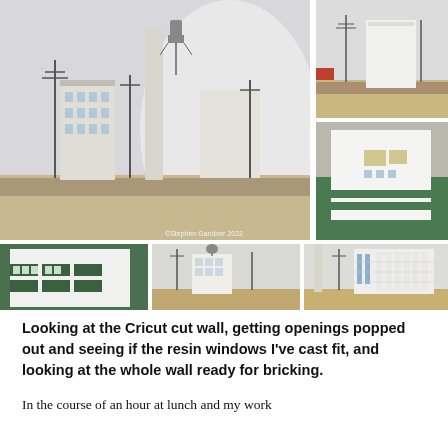[Figure (photo): Collage of 5 photos showing model railway layout with paper/card buildings including a large industrial complex with water tower, telegraph poles, and rail tracks. Additional photos show close-ups of a Cricut cut wall with window openings and resin window castings.]
Looking at the Cricut cut wall, getting openings popped out and seeing if the resin windows I've cast fit, and looking at the whole wall ready for bricking.
In the course of an hour at lunch and my work